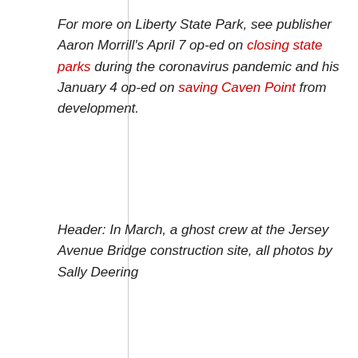For more on Liberty State Park, see publisher Aaron Morrill's April 7 op-ed on closing state parks during the coronavirus pandemic and his January 4 op-ed on saving Caven Point from development.
Header:  In March, a ghost crew at the Jersey Avenue Bridge construction site, all photos by Sally Deering